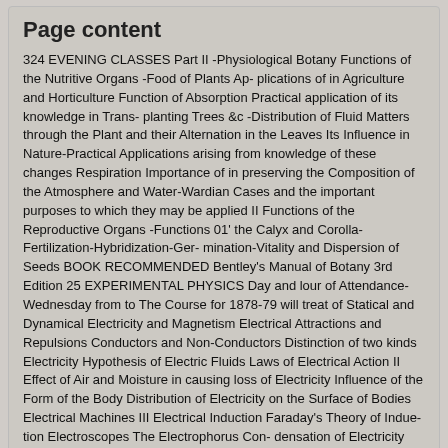Page content
324 EVENING CLASSES Part II -Physiological Botany Functions of the Nutritive Organs -Food of Plants Ap- plications of in Agriculture and Horticulture Function of Absorption Practical application of its knowledge in Trans- planting Trees &c -Distribution of Fluid Matters through the Plant and their Alternation in the Leaves Its Influence in Nature-Practical Applications arising from knowledge of these changes Respiration Importance of in preserving the Composition of the Atmosphere and Water-Wardian Cases and the important purposes to which they may be applied II Functions of the Reproductive Organs -Functions 01' the Calyx and Corolla-Fertilization-Hybridization-Ger- mination-Vitality and Dispersion of Seeds BOOK RECOMMENDED Bentley's Manual of Botany 3rd Edition 25 EXPERIMENTAL PHYSICS Day and lour of Attendance-Wednesday from to The Course for 1878-79 will treat of Statical and Dynamical Electricity and Magnetism Electrical Attractions and Repulsions Conductors and Non-Conductors Distinction of two kinds Electricity Hypothesis of Electric Fluids Laws of Electrical Action II Effect of Air and Moisture in causing loss of Electricity Influence of the Form of the Body Distribution of Electricity on the Surface of Bodies Electrical Machines III Electrical Induction Faraday's Theory of Indue- tion Electroscopes The Electrophorus Con- densation of Electricity The Leyden Jar Elec- trical Discharges
Further information
For further information about this page, please click here to contact us ›